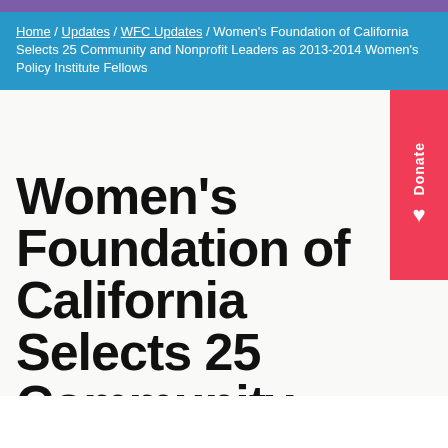Home / Updates / WFC Updates / Women's Foundation of California Selects 25 Community and Nonprofit Leaders as 2013-2014 Women's Policy Institute Fellows
Women's Foundation of California Selects 25 Community and Nonprofit Leaders as 2013-